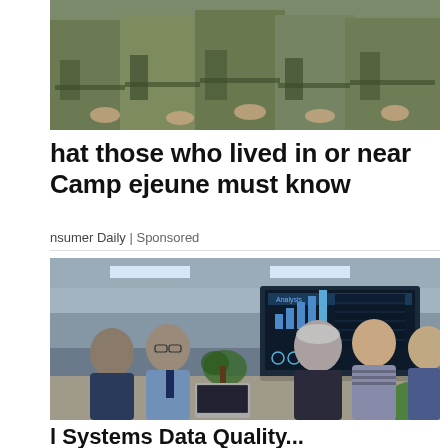[Figure (photo): Soldiers in camouflage uniforms, cropped at torso level, standing in a group]
What those who lived in or near Camp Lejeune must know
Consumer Daily | Sponsored
[Figure (photo): Business meeting in a modern conference room with people sitting around a table; a large screen shows an Analysis chart with bar graphs; a senior man in dark sweater appears to be speaking]
... Systems Data Quality ...